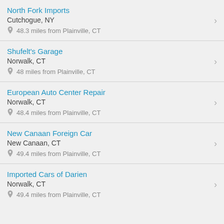North Fork Imports
Cutchogue, NY
48.3 miles from Plainville, CT
Shufelt's Garage
Norwalk, CT
48 miles from Plainville, CT
European Auto Center Repair
Norwalk, CT
48.4 miles from Plainville, CT
New Canaan Foreign Car
New Canaan, CT
49.4 miles from Plainville, CT
Imported Cars of Darien
Norwalk, CT
49.4 miles from Plainville, CT